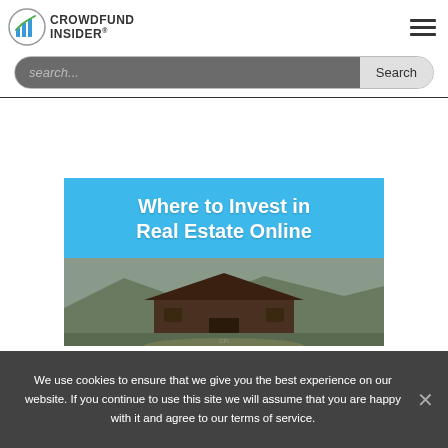Crowdfund Insider
[Figure (screenshot): Crowdfund Insider logo with bar chart icon in green and blue]
[Figure (screenshot): Where to Invest in Real Estate Online — hero image with blue banner over barn photo]
We use cookies to ensure that we give you the best experience on our website. If you continue to use this site we will assume that you are happy with it and agree to our terms of service.